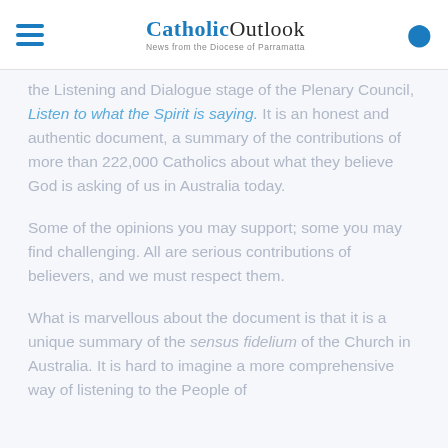CatholicOutlook — News from the Diocese of Parramatta
the Listening and Dialogue stage of the Plenary Council, Listen to what the Spirit is saying. It is an honest and authentic document, a summary of the contributions of more than 222,000 Catholics about what they believe God is asking of us in Australia today.
Some of the opinions you may support; some you may find challenging. All are serious contributions of believers, and we must respect them.
What is marvellous about the document is that it is a unique summary of the sensus fidelium of the Church in Australia. It is hard to imagine a more comprehensive way of listening to the People of